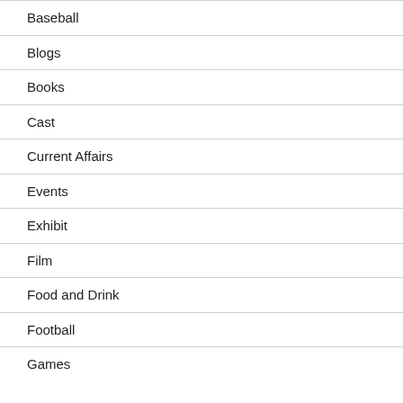Baseball
Blogs
Books
Cast
Current Affairs
Events
Exhibit
Film
Food and Drink
Football
Games